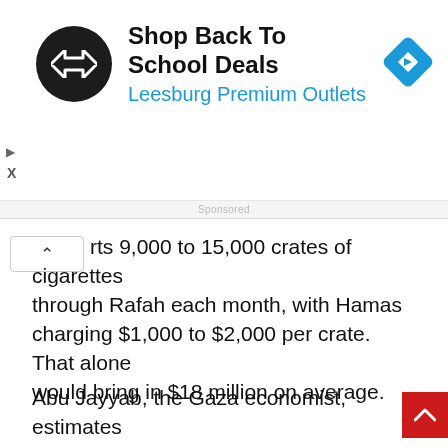[Figure (logo): Advertisement banner: black circular logo with double arrow symbol, text 'Shop Back To School Deals' in bold black, 'Leesburg Premium Outlets' in blue, and a blue diamond navigation icon on the right.]
rts 9,000 to 15,000 crates of cigarettes through Rafah each month, with Hamas charging $1,000 to $2,000 per crate. That alone would bring in $18 million on average.
Abu Jayyab, the Gaza economist, estimates Hamas makes up to $27 million a month. That’s in addition to taxes and customs paid on cement and fuel.
Mohammed Agha, whose family owns a chain of gas stations in Gaza, was one of the few businessmen who agreed to speak publicly about Hamas’ management of the crossings.